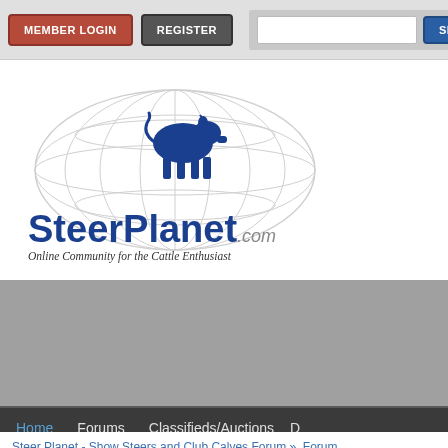[Figure (screenshot): SteerPlanet.com website header with member login, register, and search buttons]
[Figure (logo): SteerPlanet.com logo with globe background, blue cow icon, bold blue text 'SteerPlanet.com' and tagline 'Online Community for the Cattle Enthusiast']
[Figure (screenshot): Gray advertisement banner area]
Home   Forums   Classifieds/Auctions   D
Steer Planet - Show Steers and Club Calves Forum »  Forum